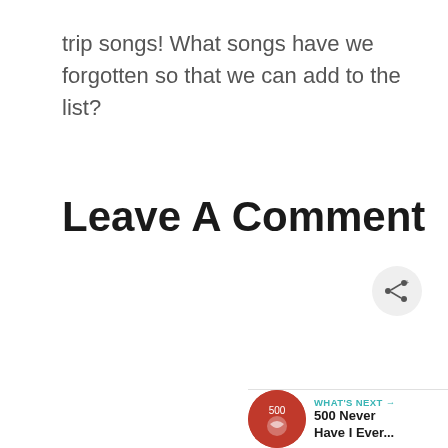trip songs! What songs have we forgotten so that we can add to the list?
Leave A Comment
[Figure (screenshot): Comment text input box, partially visible, with a share button (network/share icon) overlaid in bottom right, and a 'What's Next' widget showing a thumbnail and '500 Never Have I Ever...' text]